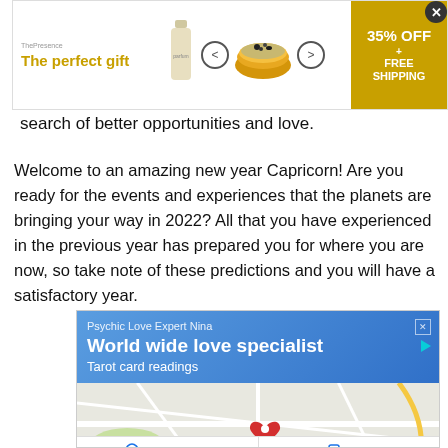[Figure (screenshot): Advertisement banner: 'The perfect gift' with ThePresence logo, bottle image, navigation arrows, food bowl, and gold badge showing 35% OFF + FREE SHIPPING. Close button (X) in top right.]
search of better opportunities and love.
Welcome to an amazing new year Capricorn! Are you ready for the events and experiences that the planets are bringing your way in 2022? All that you have experienced in the previous year has prepared you for where you are now, so take note of these predictions and you will have a satisfactory year.
[Figure (screenshot): Google Maps advertisement for 'Psychic Love Expert Nina' - World wide love specialist, Tarot card readings. Shows a map with a red location pin, and Directions and Call buttons at the bottom.]